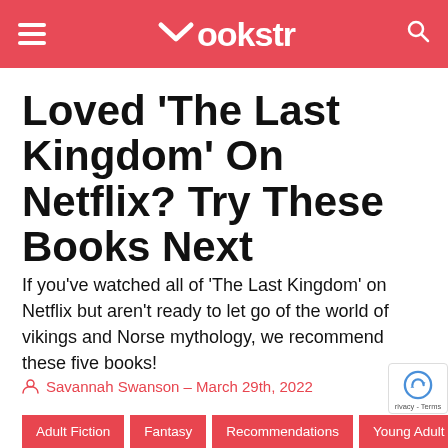Bookstr
Loved ‘The Last Kingdom’ On Netflix? Try These Books Next
If you’ve watched all of ‘The Last Kingdom’ on Netflix but aren’t ready to let go of the world of vikings and Norse mythology, we recommend these five books!
Savannah Swanson – March 29th, 2022
Adult Fiction  Fantasy  Recommendations  Young Adult